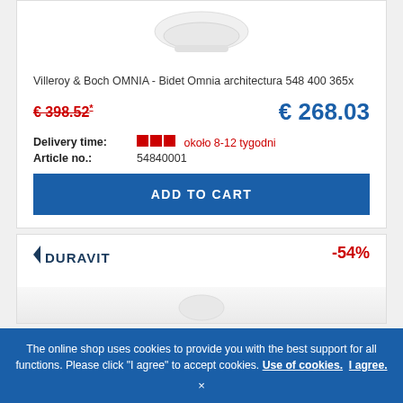[Figure (photo): Product image of Villeroy & Boch bidet (white ceramic, partially visible at top)]
Villeroy & Boch OMNIA - Bidet Omnia architectura 548 400 365x
€ 398.52* (old price, strikethrough red)
€ 268.03 (new price, blue)
Delivery time: ■■■ około 8-12 tygodni
Article no.: 54840001
ADD TO CART
[Figure (logo): Duravit logo]
-54%
The online shop uses cookies to provide you with the best support for all functions. Please click "I agree" to accept cookies. Use of cookies. I agree.